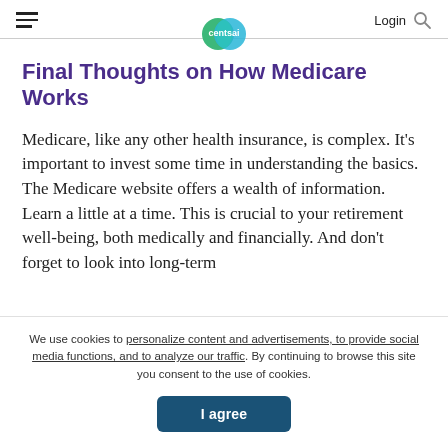centsai | Login
Final Thoughts on How Medicare Works
Medicare, like any other health insurance, is complex. It’s important to invest some time in understanding the basics. The Medicare website offers a wealth of information. Learn a little at a time. This is crucial to your retirement well-being, both medically and financially. And don’t forget to look into long-term
We use cookies to personalize content and advertisements, to provide social media functions, and to analyze our traffic. By continuing to browse this site you consent to the use of cookies.
I agree